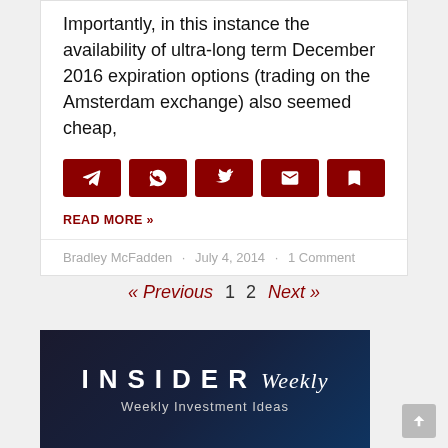Importantly, in this instance the availability of ultra-long term December 2016 expiration options (trading on the Amsterdam exchange) also seemed cheap,
[Figure (other): Row of 5 dark red share/social buttons: Telegram, WhatsApp, Twitter, Email, Save/Bookmark icons]
READ MORE »
Bradley McFadden · July 4, 2014 · 1 Comment
« Previous 1 2 Next »
[Figure (illustration): Insider Weekly logo image with dark background showing 'INSIDER Weekly' text in large white letters and 'Weekly Investment Ideas' subtitle below]